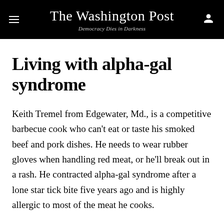The Washington Post — Democracy Dies in Darkness
Living with alpha-gal syndrome
Keith Tremel from Edgewater, Md., is a competitive barbecue cook who can't eat or taste his smoked beef and pork dishes. He needs to wear rubber gloves when handling red meat, or he'll break out in a rash. He contracted alpha-gal syndrome after a lone star tick bite five years ago and is highly allergic to most of the meat he cooks.